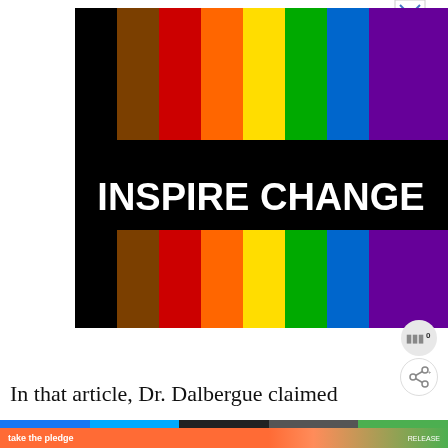[Figure (illustration): Inspire Change advertisement image showing vertical rainbow pride flag color bars (black, brown, red, orange, yellow, green, blue, purple) with a black horizontal band across the middle containing bold white text 'INSPIRE CHANGE'. Small X close button in top right corner.]
In that article, Dr. Dalbergue claimed
[Figure (screenshot): Bottom banner ad: orange background with white bold text 'take the pledge', with 'RELEASE' logo and 'ed' icon on the right side. Navigation bar below with social media icons.]